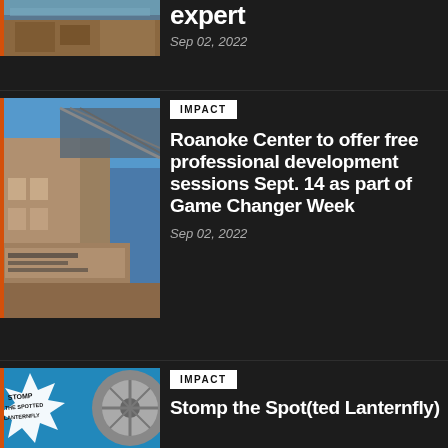[Figure (photo): Partial top image of a building or outdoor scene, cropped]
expert
Sep 02, 2022
[Figure (photo): Roanoke Higher Education Center building exterior with signage]
IMPACT
Roanoke Center to offer free professional development sessions Sept. 14 as part of Game Changer Week
Sep 02, 2022
[Figure (illustration): Stomp the Spotted Lanternfly graphic with starburst and wheel/tire image]
IMPACT
Stomp the Spot(ted Lanternfly)